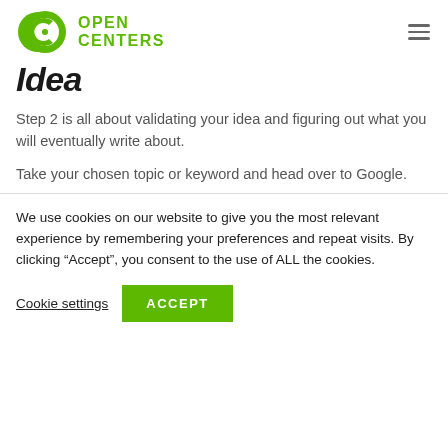[Figure (logo): Open Centers logo: green circular icon with a 'C' shape and dot, followed by bold green uppercase text 'OPEN CENTERS' in two lines]
Idea
Step 2 is all about validating your idea and figuring out what you will eventually write about.
Take your chosen topic or keyword and head over to Google.
We use cookies on our website to give you the most relevant experience by remembering your preferences and repeat visits. By clicking “Accept”, you consent to the use of ALL the cookies.
Cookie settings | ACCEPT